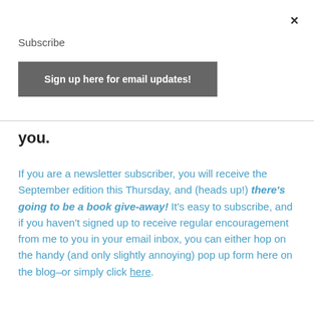×
Subscribe
Sign up here for email updates!
you.
If you are a newsletter subscriber, you will receive the September edition this Thursday, and (heads up!) there's going to be a book give-away! It's easy to subscribe, and if you haven't signed up to receive regular encouragement from me to you in your email inbox, you can either hop on the handy (and only slightly annoying) pop up form here on the blog–or simply click here.